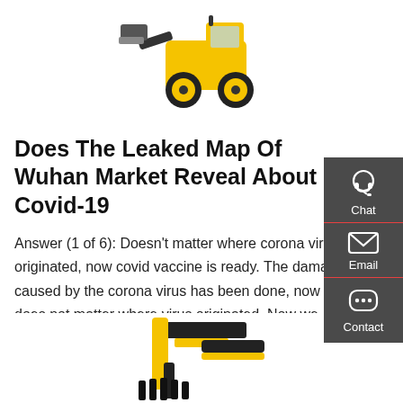[Figure (photo): Yellow front loader / wheel loader construction vehicle viewed from the front-right angle]
Does The Leaked Map Of Wuhan Market Reveal About Covid-19
Answer (1 of 6): Doesn't matter where corona virus originated, now covid vaccine is ready. The damage caused by the corona virus has been done, now it does not matter where virus originated. Now we should try to bring the economy to the level before covid. If it was a conspiracy of China, t
[Figure (infographic): Side panel with Chat, Email, and Contact icons on dark grey background]
[Figure (photo): Black and yellow construction attachment / trencher or claw attachment for machinery]
Get a quote